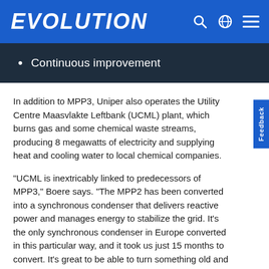EVOLUTION
Continuous improvement
In addition to MPP3, Uniper also operates the Utility Centre Maasvlakte Leftbank (UCML) plant, which burns gas and some chemical waste streams, producing 8 megawatts of electricity and supplying heat and cooling water to local chemical companies.
“UCML is inextricably linked to predecessors of MPP3,” Boere says. “The MPP2 has been converted into a synchronous condenser that delivers reactive power and manages energy to stabilize the grid. It’s the only synchronous condenser in Europe converted in this particular way, and it took us just 15 months to convert. It’s great to be able to turn something old and